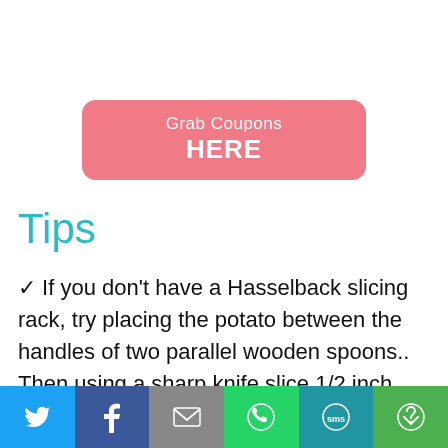[Figure (other): Pink rounded button with text 'Grab Coupons HERE']
Tips
✓ If you don't have a Hasselback slicing rack, try placing the potato between the handles of two parallel wooden spoons.. Then using a sharp knife slice 1/2 inch cuts into the potato. Tape the wooden spoons onto a cutting board so that they
[Figure (infographic): Social sharing bar with Twitter, Facebook, Email, WhatsApp, SMS, and More buttons]